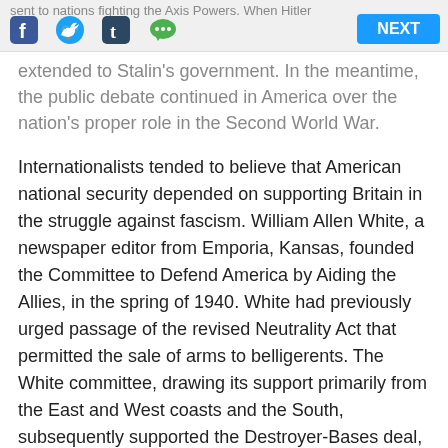sent to nations fighting the Axis Powers. When Hitler
extended to Stalin's government. In the meantime, the public debate continued in America over the nation's proper role in the Second World War.
Internationalists tended to believe that American national security depended on supporting Britain in the struggle against fascism. William Allen White, a newspaper editor from Emporia, Kansas, founded the Committee to Defend America by Aiding the Allies, in the spring of 1940. White had previously urged passage of the revised Neutrality Act that permitted the sale of arms to belligerents. The White committee, drawing its support primarily from the East and West coasts and the South, subsequently supported the Destroyer-Bases deal, military conscription, and the Lend-Lease Act.
The American First Committee was formed the day after